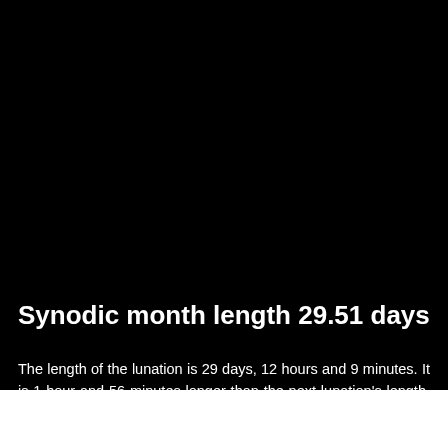Synodic month length 29.51 days
The length of the lunation is 29 days, 12 hours and 9 minutes. It is 1 hour and 56 minutes longer than the next lunation's length. The lengths of the following synodic